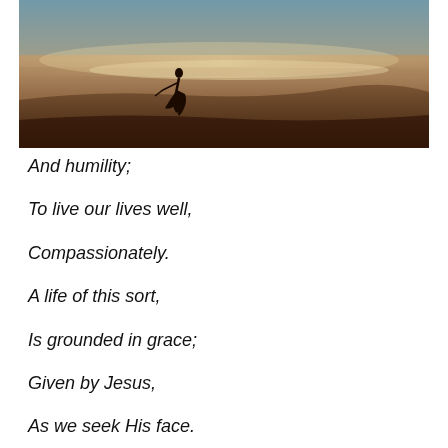[Figure (photo): A lone figure in a flowing dress standing on a vast open plain under a dramatic sky with warm sunset tones of brown, orange, and teal.]
And humility;
To live our lives well,
Compassionately.
A life of this sort,
Is grounded in grace;
Given by Jesus,
As we seek His face.